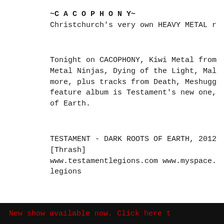~C A C O P H O N Y~
Christchurch's very own HEAVY METAL r
Tonight on CACOPHONY, Kiwi Metal from Metal Ninjas, Dying of the Light, Mal more, plus tracks from Death, Meshugg feature album is Testament's new one, of Earth.
TESTAMENT - DARK ROOTS OF EARTH, 2012 [Thrash]
www.testamentlegions.com www.myspace. legions
New show available now. Click here t